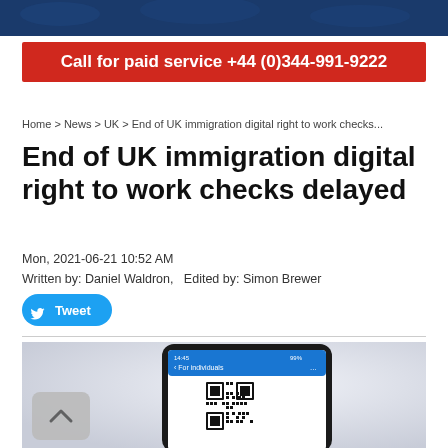Call for paid service +44 (0)344-991-9222
Home > News > UK > End of UK immigration digital right to work checks...
End of UK immigration digital right to work checks delayed
Mon, 2021-06-21 10:52 AM
Written by: Daniel Waldron,   Edited by: Simon Brewer
[Figure (screenshot): Tweet button with Twitter bird icon]
[Figure (photo): A smartphone displaying a QR code on its screen, shown against a light background. The phone screen shows a blue header with text 'For individuals' and a large QR code below it.]